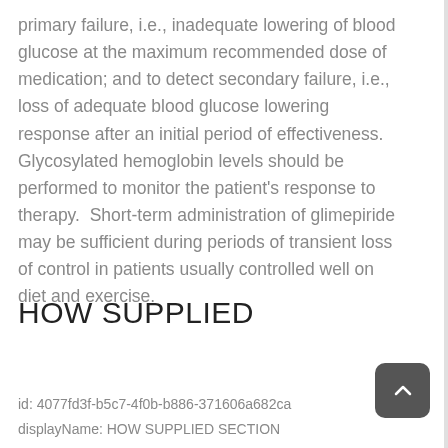primary failure, i.e., inadequate lowering of blood glucose at the maximum recommended dose of medication; and to detect secondary failure, i.e., loss of adequate blood glucose lowering response after an initial period of effectiveness. Glycosylated hemoglobin levels should be performed to monitor the patient's response to therapy.  Short-term administration of glimepiride may be sufficient during periods of transient loss of control in patients usually controlled well on diet and exercise.
HOW SUPPLIED
id: 4077fd3f-b5c7-4f0b-b886-371606a682ca
displayName: HOW SUPPLIED SECTION